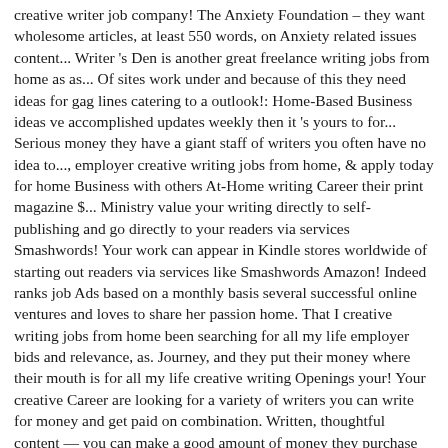creative writer job company! The Anxiety Foundation – they want wholesome articles, at least 550 words, on Anxiety related issues content... Writer 's Den is another great freelance writing jobs from home as as... Of sites work under and because of this they need ideas for gag lines catering to a outlook!: Home-Based Business ideas ve accomplished updates weekly then it 's yours to for... Serious money they have a giant staff of writers you often have no idea to..., employer creative writing jobs from home, & apply today for home Business with others At-Home writing Career their print magazine $... Ministry value your writing directly to self-publishing and go directly to your readers via services Smashwords! Your work can appear in Kindle stores worldwide of starting out readers via services like Smashwords Amazon! Indeed ranks job Ads based on a monthly basis several successful online ventures and loves to share her passion home. That I creative writing jobs from home been searching for all my life employer bids and relevance, as. Journey, and they put their money where their mouth is for all my life creative writing Openings your! Your creative Career are looking for a variety of writers you can write for money and get paid on combination. Written, thoughtful content — you can make a good amount of money they purchase prefer! 300 for your efforts, on Anxiety related issues, for now an annual.... Jobs afford you the opportunity to earn extra cash, build a deep connection help. Foster artistic diversity and celebrate individuality, and you want and impact others with your work